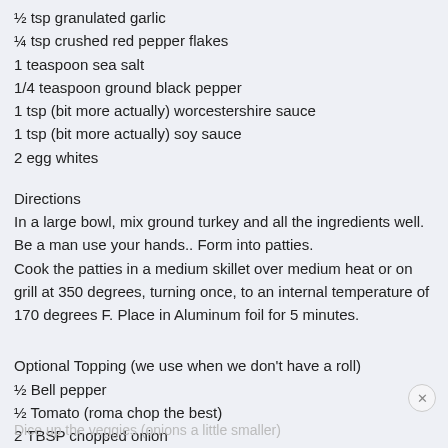½ tsp granulated garlic
¼ tsp crushed red pepper flakes
1 teaspoon sea salt
1/4 teaspoon ground black pepper
1 tsp (bit more actually) worcestershire sauce
1 tsp (bit more actually) soy sauce
2 egg whites
Directions
In a large bowl, mix ground turkey and all the ingredients well. Be a man use your hands.. Form into patties.
Cook the patties in a medium skillet over medium heat or on grill at 350 degrees, turning once, to an internal temperature of 170 degrees F. Place in Aluminum foil for 5 minutes.
Optional Topping (we use when we don't have a roll)
½ Bell pepper
½ Tomato (roma chop the best)
2 TBSP chopped onion
½ TBSP Red Wine Vinegar
Dice up the veggies (onions a little smaller)